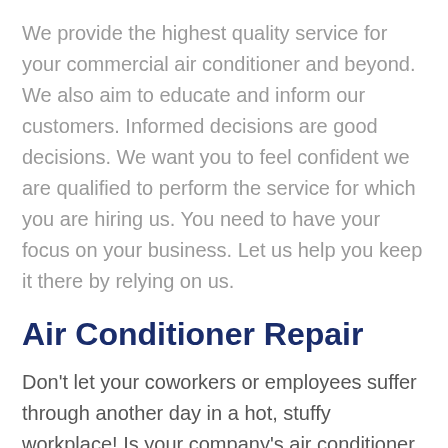We provide the highest quality service for your commercial air conditioner and beyond. We also aim to educate and inform our customers. Informed decisions are good decisions. We want you to feel confident we are qualified to perform the service for which you are hiring us. You need to have your focus on your business. Let us help you keep it there by relying on us.
Air Conditioner Repair
Don't let your coworkers or employees suffer through another day in a hot, stuffy workplace! Is your company's air conditioner